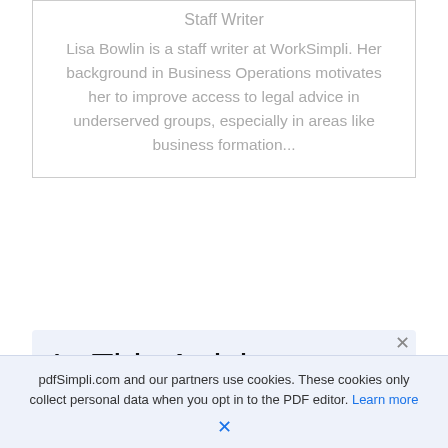Staff Writer
Lisa Bowlin is a staff writer at WorkSimpli. Her background in Business Operations motivates her to improve access to legal advice in underserved groups, especially in areas like business formation...
In This Article
pdfSimpli.com and our partners use cookies. These cookies only collect personal data when you opt in to the PDF editor. Learn more
×